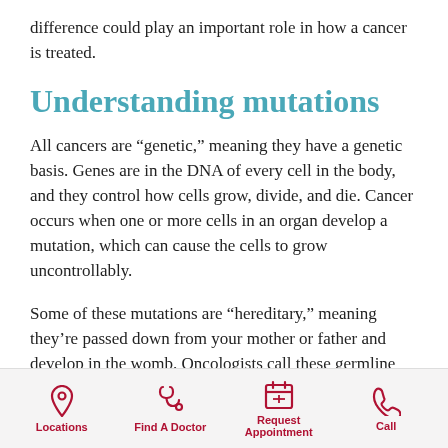difference could play an important role in how a cancer is treated.
Understanding mutations
All cancers are “genetic,” meaning they have a genetic basis. Genes are in the DNA of every cell in the body, and they control how cells grow, divide, and die. Cancer occurs when one or more cells in an organ develop a mutation, which can cause the cells to grow uncontrollably.
Some of these mutations are “hereditary,” meaning they’re passed down from your mother or father and develop in the womb. Oncologists call these germline mutations.
Locations | Find A Doctor | Request Appointment | Call